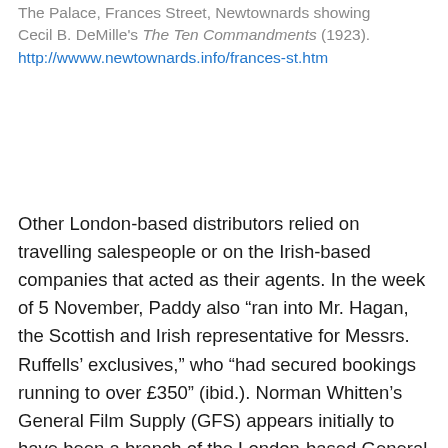The Palace, Frances Street, Newtownards showing Cecil B. DeMille's The Ten Commandments (1923). http://wwww.newtownards.info/frances-st.htm
Other London-based distributors relied on travelling salespeople or on the Irish-based companies that acted as their agents. In the week of 5 November, Paddy also “ran into Mr. Hagan, the Scottish and Irish representative for Messrs. Ruffells’ exclusives,” who “had secured bookings running to over £350” (ibid.). Norman Whitten’s General Film Supply (GFS) appears initially to have been a branch of the London-based General Film Agency, and although Whitten was better known as a maker and distributor of his own local topicals, GFS also distributed the films of other companies. Some larger Irish cinema chains, such as